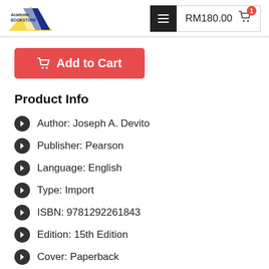[Figure (logo): Academic Bookstore logo with blue and yellow chevron arrow graphic]
RM180.00
Add to Cart
Product Info
Author: Joseph A. Devito
Publisher: Pearson
Language: English
Type: Import
ISBN: 9781292261843
Edition: 15th Edition
Cover: Paperback
Year: 2019